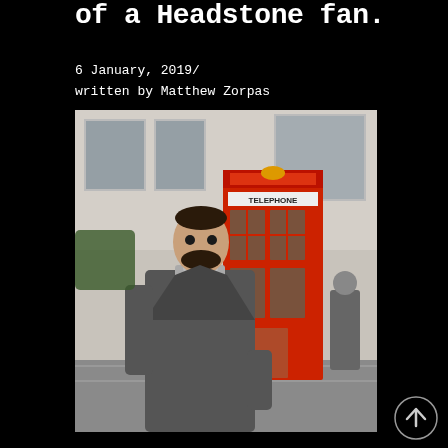of a Headstone fan.
6 January, 2019/
written by Matthew Zorpas
[Figure (photo): A bearded man in a grey suit and turtleneck walking in front of a red London telephone box (TELEPHONE) on a city street. Buildings visible in background, another pedestrian in background on right.]
[Figure (other): Scroll-up arrow button icon in bottom right corner]